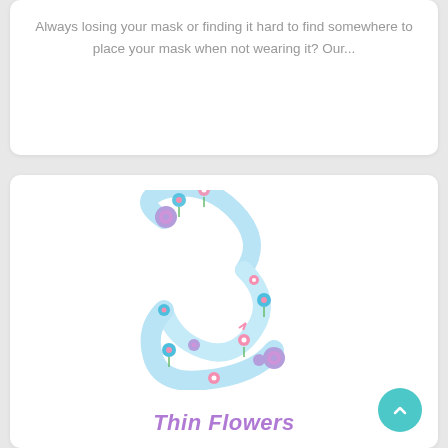Always losing your mask or finding it hard to find somewhere to place your mask when not wearing it? Our...
[Figure (photo): A light blue ribbon/strap with pink and blue flower print, coiled in a spiral shape with purple snap buttons at each end. This appears to be a face mask lanyard or holder product.]
Thin Flowers